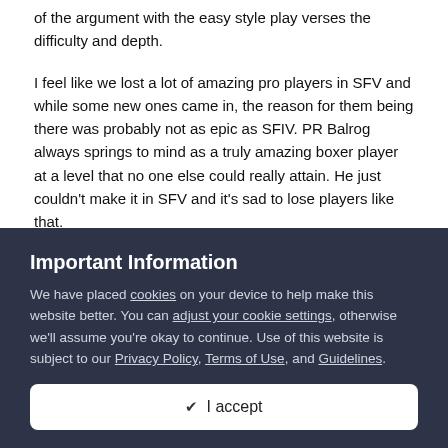of the argument with the easy style play verses the difficulty and depth.
I feel like we lost a lot of amazing pro players in SFV and while some new ones came in, the reason for them being there was probably not as epic as SFIV. PR Balrog always springs to mind as a truly amazing boxer player at a level that no one else could really attain. He just couldn't make it in SFV and it's sad to lose players like that.
Personally I think it needs the depth. You need the top players pushing boundaries of what's possible to keep it interesting.
Important Information
We have placed cookies on your device to help make this website better. You can adjust your cookie settings, otherwise we'll assume you're okay to continue. Use of this website is subject to our Privacy Policy, Terms of Use, and Guidelines.
✔ I accept